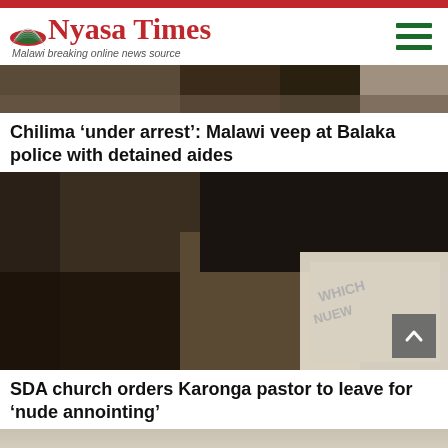Nyasa Times — Malawi breaking online news source
[Figure (photo): Partial photo of people standing, visible from waist down, outdoors]
Chilima ‘under arrest’: Malawi veep at Balaka police with detained aides
[Figure (photo): Photo of a person lying on a road/ground, wearing a white shirt with text]
SDA church orders Karonga pastor to leave for ‘nude annointing’
[Figure (photo): Partial photo, beginning of third article image, person visible from chest]